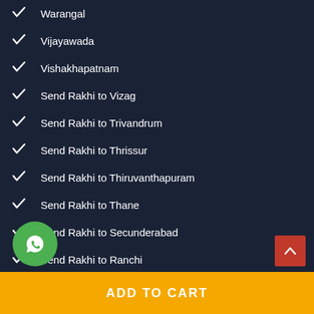Warangal
Vijayawada
Vishakhapatnam
Send Rakhi to Vizag
Send Rakhi to Trivandrum
Send Rakhi to Thrissur
Send Rakhi to Thiruvanthapuram
Send Rakhi to Thane
Send Rakhi to Secunderabad
Send Rakhi to Ranchi
Send Rakhi to Phagwara
Send Rakhi to Panchkula
Send Rakhi to Patna
Send Rakhi to Patiala
ADD TO CART